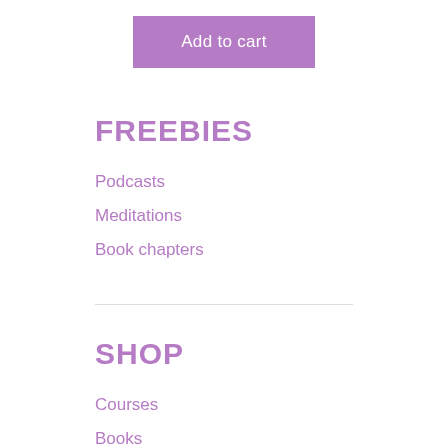Add to cart
FREEBIES
Podcasts
Meditations
Book chapters
SHOP
Courses
Books